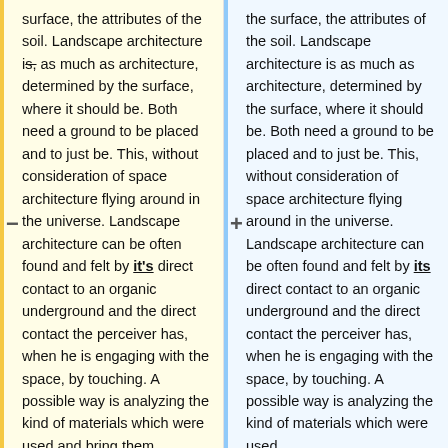surface, the attributes of the soil. Landscape architecture is̶ as much as architecture, determined by the surface, where it should be. Both need a ground to be placed and to just be. This, without consideration of space architecture flying around in the universe. Landscape architecture can be often found and felt by it's̶ direct contact to an organic underground and the direct contact the perceiver has, when he is engaging with the space, by touching. A possible way is analyzing the kind of materials which were used and bring them
the surface, the attributes of the soil. Landscape architecture is as much as architecture, determined by the surface, where it should be. Both need a ground to be placed and to just be. This, without consideration of space architecture flying around in the universe. Landscape architecture can be often found and felt by its direct contact to an organic underground and the direct contact the perceiver has, when he is engaging with the space, by touching. A possible way is analyzing the kind of materials which were used